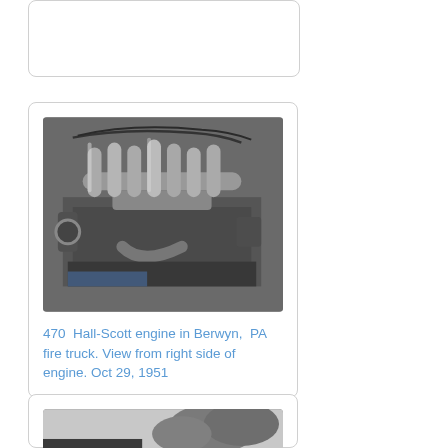[Figure (photo): Partial card visible at top, cropped, showing only top border region]
[Figure (photo): Black and white photograph of Hall-Scott engine in Berwyn PA fire truck, view from right side of engine, Oct 29 1951]
470  Hall-Scott engine in Berwyn,  PA fire truck. View from right side of engine. Oct 29, 1951
[Figure (photo): Black and white photograph partially visible at bottom, appears to show a vehicle or landscape scene]